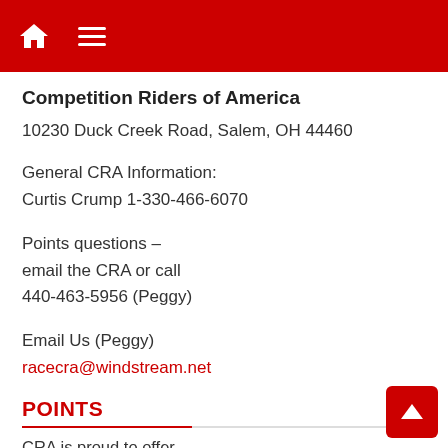Navigation bar with home icon and hamburger menu
Competition Riders of America
10230 Duck Creek Road, Salem, OH 44460
General CRA Information:
Curtis Crump 1-330-466-6070
Points questions –
email the CRA or call
440-463-5956 (Peggy)
Email Us (Peggy)
racecra@windstream.net
POINTS
CRA is proud to offer